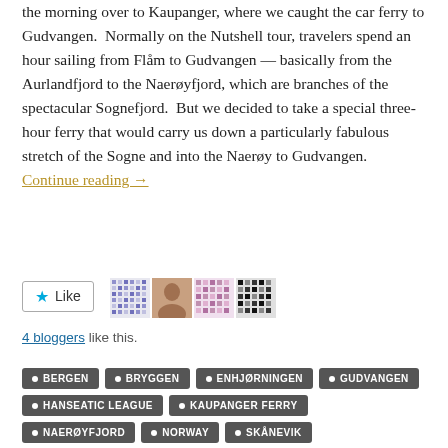the morning over to Kaupanger, where we caught the car ferry to Gudvangen. Normally on the Nutshell tour, travelers spend an hour sailing from Flåm to Gudvangen — basically from the Aurlandfjord to the Naerøyfjord, which are branches of the spectacular Sognefjord. But we decided to take a special three-hour ferry that would carry us down a particularly fabulous stretch of the Sogne and into the Naerøy to Gudvangen. Continue reading →
[Figure (other): Like button with star icon and 4 blogger avatars (patterned icons)]
4 bloggers like this.
BERGEN
BRYGGEN
ENHJØRNINGEN
GUDVANGEN
HANSEATIC LEAGUE
KAUPANGER FERRY
NAERØYFJORD
NORWAY
SKÅNEVIK